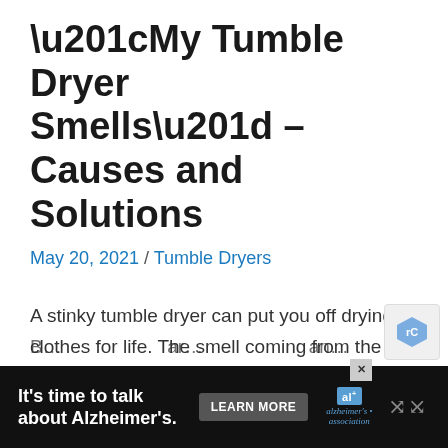“My Tumble Dryer Smells” – Causes and Solutions
May 20, 2021 / Tumble Dryers
A stinky tumble dryer can put you off drying clothes for life. The smell coming from the machine can sometimes be so vile that you literally feel quite sick. Not to mention the fact that the stench slowly creeps its way around the house too...
B... ar... a...
[Figure (other): Advertisement banner: 'It's time to talk about Alzheimer's.' with Learn More button and Alzheimer's Association logo]